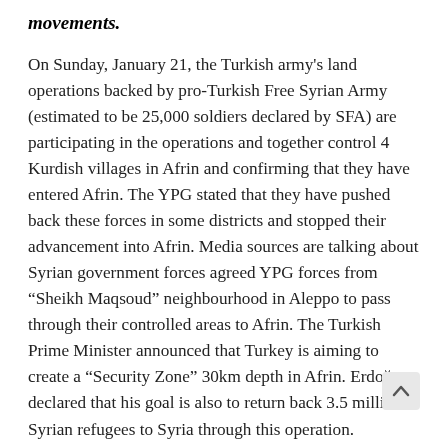movements.
On Sunday, January 21, the Turkish army's land operations backed by pro-Turkish Free Syrian Army (estimated to be 25,000 soldiers declared by SFA) are participating in the operations and together control 4 Kurdish villages in Afrin and confirming that they have entered Afrin. The YPG stated that they have pushed back these forces in some districts and stopped their advancement into Afrin. Media sources are talking about Syrian government forces agreed YPG forces from “Sheikh Maqsoud” neighbourhood in Aleppo to pass through their controlled areas to Afrin. The Turkish Prime Minister announced that Turkey is aiming to create a “Security Zone” 30km depth in Afrin. Erdoğan declared that his goal is also to return back 3.5 million Syrian refugees to Syria through this operation.
All this is happening under a relative silence and acceptance of major players in Syria. Kurds believe that their friends have been “disloyal” to them, they gave a “green light” to Turkey and turned their back to Afrin and allowed the civilian population to